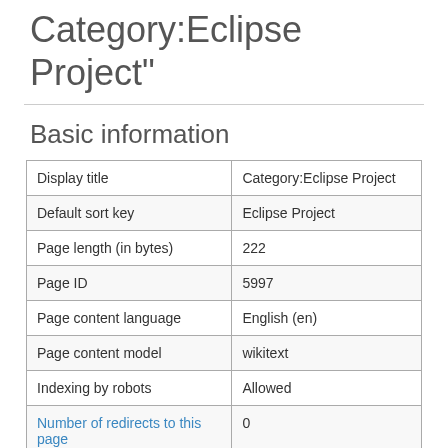Category:Eclipse Project"
Basic information
|  |  |
| --- | --- |
| Display title | Category:Eclipse Project |
| Default sort key | Eclipse Project |
| Page length (in bytes) | 222 |
| Page ID | 5997 |
| Page content language | English (en) |
| Page content model | wikitext |
| Indexing by robots | Allowed |
| Number of redirects to this page | 0 |
Category information